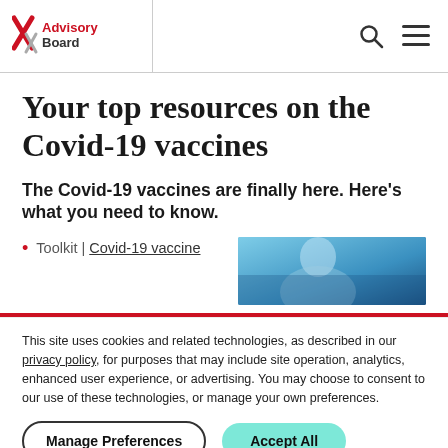Advisory Board [logo] | search icon | menu icon
Your top resources on the Covid-19 vaccines
The Covid-19 vaccines are finally here. Here's what you need to know.
Toolkit | Covid-19 vaccine
[Figure (photo): Close-up photo of a person's face partially visible, blue background, appears to be medical context]
This site uses cookies and related technologies, as described in our privacy policy, for purposes that may include site operation, analytics, enhanced user experience, or advertising. You may choose to consent to our use of these technologies, or manage your own preferences.
Manage Preferences | Accept All